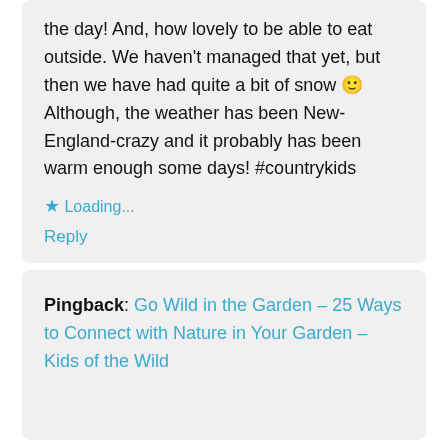the day! And, how lovely to be able to eat outside. We haven't managed that yet, but then we have had quite a bit of snow 🙂 Although, the weather has been New-England-crazy and it probably has been warm enough some days! #countrykids
★ Loading...
Reply
Pingback: Go Wild in the Garden – 25 Ways to Connect with Nature in Your Garden – Kids of the Wild